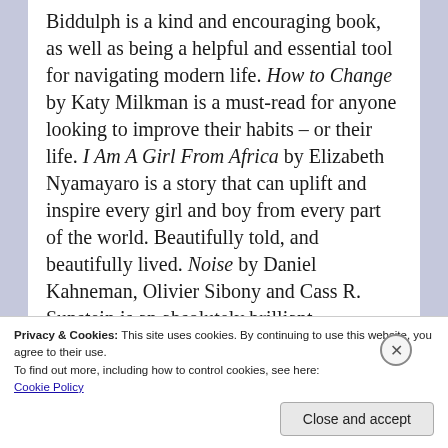Biddulph is a kind and encouraging book, as well as being a helpful and essential tool for navigating modern life. How to Change by Katy Milkman is a must-read for anyone looking to improve their habits – or their life. I Am A Girl From Africa by Elizabeth Nyamayaro is a story that can uplift and inspire every girl and boy from every part of the world. Beautifully told, and beautifully lived. Noise by Daniel Kahneman, Olivier Sibony and Cass R. Sunstein is an absolutely brilliant investigation of a massive societal problem that has been hiding in plain sight
Privacy & Cookies: This site uses cookies. By continuing to use this website, you agree to their use.
To find out more, including how to control cookies, see here:
Cookie Policy
Close and accept